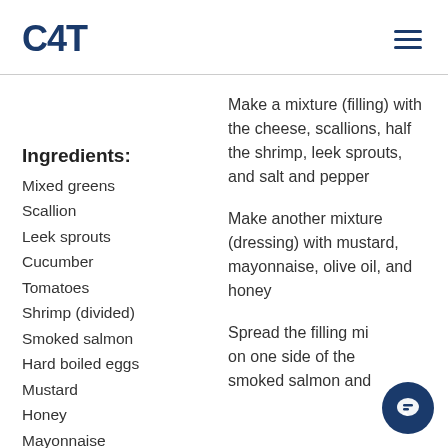C4T
Ingredients:
Mixed greens
Scallion
Leek sprouts
Cucumber
Tomatoes
Shrimp (divided)
Smoked salmon
Hard boiled eggs
Mustard
Honey
Mayonnaise
Make a mixture (filling) with the cheese, scallions, half the shrimp, leek sprouts, and salt and pepper
Make another mixture (dressing) with mustard, mayonnaise, olive oil, and honey
Spread the filling mixture on one side of the smoked salmon and